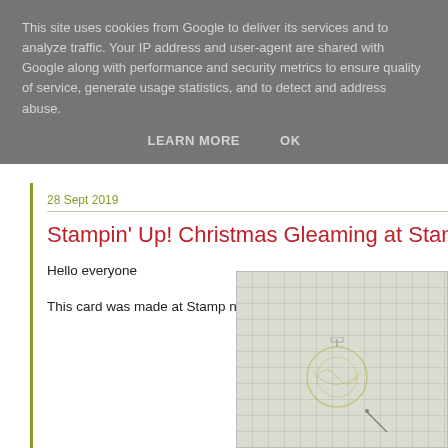This site uses cookies from Google to deliver its services and to analyze traffic. Your IP address and user-agent are shared with Google along with performance and security metrics to ensure quality of service, generate usage statistics, and to detect and address abuse.
LEARN MORE   OK
28 Sept 2019
Stampin' Up! Christmas Gleaming at Stamp n S…
Hello everyone
This card was made at Stamp n Sip recently.
[Figure (photo): Partially visible crafting photo showing a grid cutting mat with a light-colored card and yellow/gold stamped design, positioned in the lower-right of the page.]